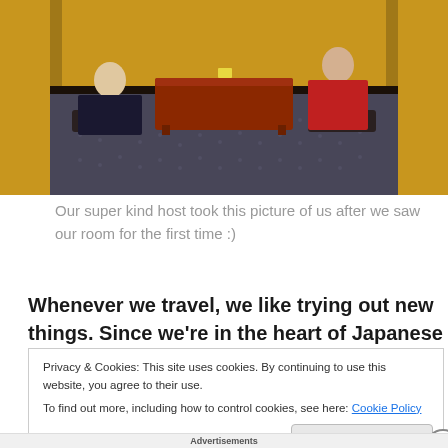[Figure (photo): Two people sitting on floor cushions around a low traditional Japanese wooden table in a tatami/ryokan room with patterned carpet floor and yellow-orange walls]
Our super kind host took this picture of us after we saw our room for the first time :)
Whenever we travel, we like trying out new things. Since we're in the heart of Japanese culture, staying in a traditional Japanese accommodation was a must do for us! To my horror, most ryokan I checked were fully booked
Privacy & Cookies: This site uses cookies. By continuing to use this website, you agree to their use.
To find out more, including how to control cookies, see here: Cookie Policy
Advertisements